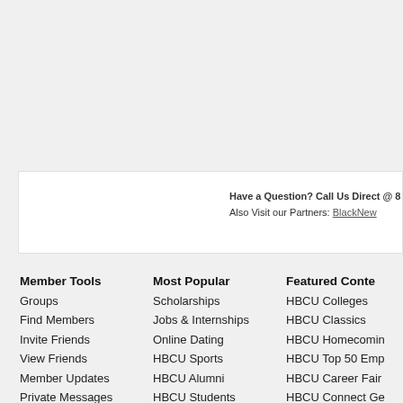Have a Question? Call Us Direct @ 8... Also Visit our Partners: BlackNew...
Member Tools
Groups
Find Members
Invite Friends
View Friends
Member Updates
Private Messages
View Your Profile
Edit Your Profile
Most Popular
Scholarships
Jobs & Internships
Online Dating
HBCU Sports
HBCU Alumni
HBCU Students
Discussion Forums
Featured Conte...
HBCU Colleges
HBCU Classics
HBCU Homecomin...
HBCU Top 50 Emp...
HBCU Career Fair...
HBCU Connect Ge...
Famous HBCU Alu...
HBCU Campus Qu...
Past Newsletters